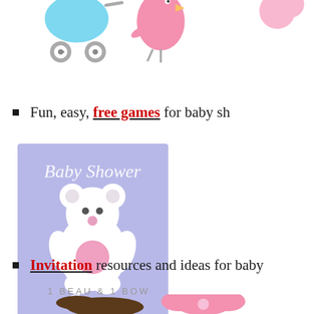[Figure (illustration): Decorative baby shower icons at top: blue baby carriage on left, pink bird/stork in center, partial pink shape on right]
Fun, easy, free games for baby sh...
[Figure (illustration): Baby Shower Games book/card image with purple/lavender background, white teddy bear with pink belly, text 'Baby Shower' at top and 'Games' at bottom in cursive script]
Invitation resources and ideas for baby...
[Figure (illustration): Bottom section showing '1 BEAU & 1 BOW' text with partial baby shower decorations below]
1 BEAU & 1 BOW